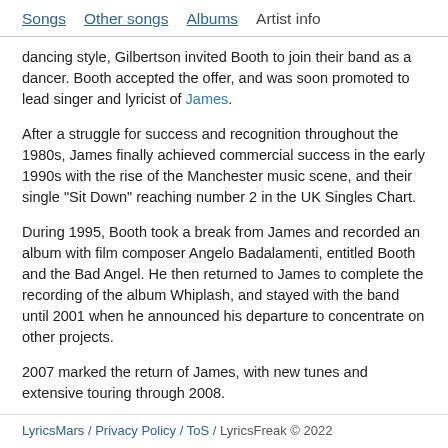Songs | Other songs | Albums | Artist info
dancing style, Gilbertson invited Booth to join their band as a dancer. Booth accepted the offer, and was soon promoted to lead singer and lyricist of James.
After a struggle for success and recognition throughout the 1980s, James finally achieved commercial success in the early 1990s with the rise of the Manchester music scene, and their single "Sit Down" reaching number 2 in the UK Singles Chart.
During 1995, Booth took a break from James and recorded an album with film composer Angelo Badalamenti, entitled Booth and the Bad Angel. He then returned to James to complete the recording of the album Whiplash, and stayed with the band until 2001 when he announced his departure to concentrate on other projects.
2007 marked the return of James, with new tunes and extensive touring through 2008.
LyricsMars / Privacy Policy / ToS / LyricsFreak © 2022